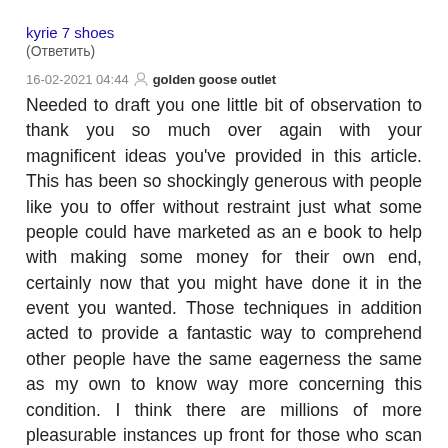kyrie 7 shoes
(Ответить)
16-02-2021 04:44  golden goose outlet
Needed to draft you one little bit of observation to thank you so much over again with your magnificent ideas you've provided in this article. This has been so shockingly generous with people like you to offer without restraint just what some people could have marketed as an e book to help with making some money for their own end, certainly now that you might have done it in the event you wanted. Those techniques in addition acted to provide a fantastic way to comprehend other people have the same eagerness the same as my own to know way more concerning this condition. I think there are millions of more pleasurable instances up front for those who scan your blog post.